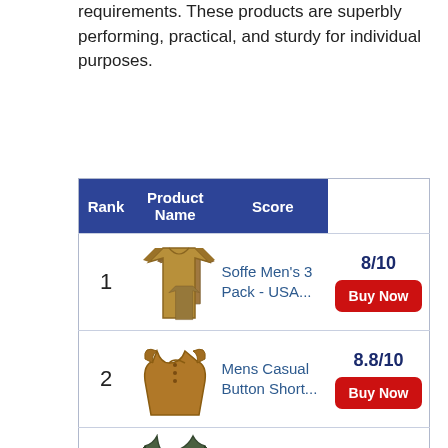requirements. These products are superbly performing, practical, and sturdy for individual purposes.
| Rank | Product Name | Score |
| --- | --- | --- |
| 1 | Soffe Men's 3 Pack - USA... | 8/10 |
| 2 | Mens Casual Button Short... | 8.8/10 |
| 3 | MAGCOMSEN | 8.4/10 |